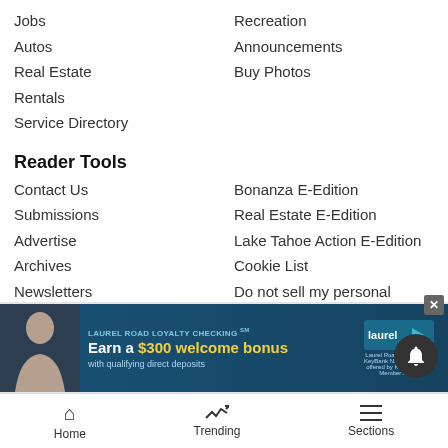Jobs
Recreation
Autos
Announcements
Real Estate
Buy Photos
Rentals
Service Directory
Reader Tools
Contact Us
Bonanza E-Edition
Submissions
Real Estate E-Edition
Advertise
Lake Tahoe Action E-Edition
Archives
Cookie List
Newsletters
Do not sell my personal information
RSS
Tahoe Daily Tribune E-Edition
News Neighbors
Sierra Sun
Grass Va…
[Figure (infographic): Laurel Road Loyalty Checking advertisement: Earn a $300 welcome bonus with qualifying direct deposits]
Home | Trending | Sections